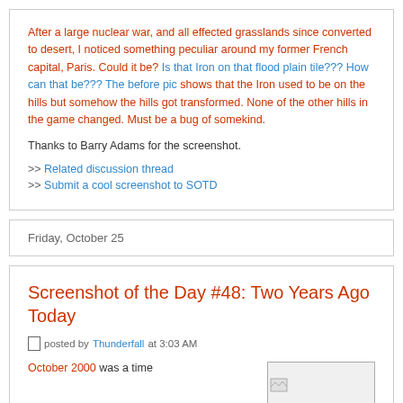After a large nuclear war, and all effected grasslands since converted to desert, I noticed something peculiar around my former French capital, Paris. Could it be? Is that Iron on that flood plain tile??? How can that be??? The before pic shows that the Iron used to be on the hills but somehow the hills got transformed. None of the other hills in the game changed. Must be a bug of somekind.
Thanks to Barry Adams for the screenshot.
>> Related discussion thread
>> Submit a cool screenshot to SOTD
Friday, October 25
Screenshot of the Day #48: Two Years Ago Today
posted by Thunderfall at 3:03 AM
October 2000 was a time
[Figure (photo): Thumbnail image placeholder with broken image icon]